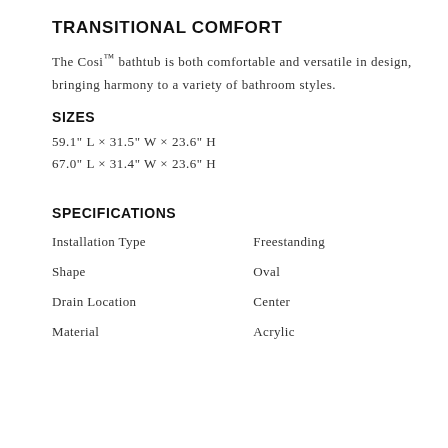TRANSITIONAL COMFORT
The Cosi™ bathtub is both comfortable and versatile in design, bringing harmony to a variety of bathroom styles.
SIZES
59.1" L × 31.5" W × 23.6" H
67.0" L × 31.4" W × 23.6" H
SPECIFICATIONS
|  |  |
| --- | --- |
| Installation Type | Freestanding |
| Shape | Oval |
| Drain Location | Center |
| Material | Acrylic |